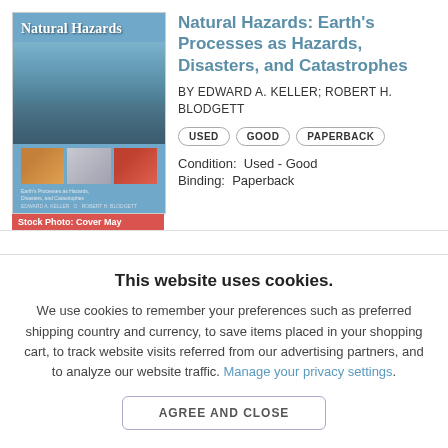[Figure (photo): Book cover of 'Natural Hazards' by Edward A. Keller and Robert H. Blodgett, showing flood scene and three thumbnail images of natural disasters]
Natural Hazards: Earth's Processes as Hazards, Disasters, and Catastrophes
BY EDWARD A. KELLER; ROBERT H. BLODGETT
USED   GOOD   PAPERBACK
Condition:  Used - Good
Binding:  Paperback
Stock Photo: Cover May
This website uses cookies.
We use cookies to remember your preferences such as preferred shipping country and currency, to save items placed in your shopping cart, to track website visits referred from our advertising partners, and to analyze our website traffic. Manage your privacy settings.
AGREE AND CLOSE